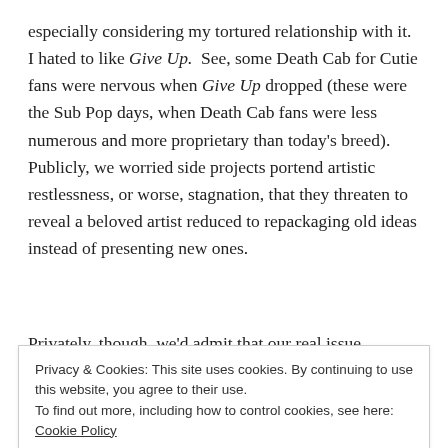especially considering my tortured relationship with it.  I hated to like Give Up.  See, some Death Cab for Cutie fans were nervous when Give Up dropped (these were the Sub Pop days, when Death Cab fans were less numerous and more proprietary than today's breed).  Publicly, we worried side projects portend artistic restlessness, or worse, stagnation, that they threaten to reveal a beloved artist reduced to repackaging old ideas instead of presenting new ones.
Privately, though, we'd admit that our real issue
Privacy & Cookies: This site uses cookies. By continuing to use this website, you agree to their use.
To find out more, including how to control cookies, see here: Cookie Policy
Close and accept